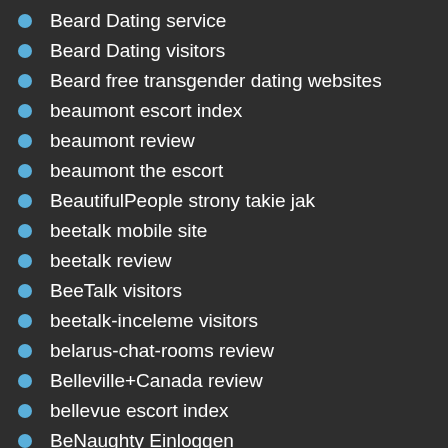Beard Dating service
Beard Dating visitors
Beard free transgender dating websites
beaumont escort index
beaumont review
beaumont the escort
BeautifulPeople strony takie jak
beetalk mobile site
beetalk review
BeeTalk visitors
beetalk-inceleme visitors
belarus-chat-rooms review
Belleville+Canada review
bellevue escort index
BeNaughty Einloggen